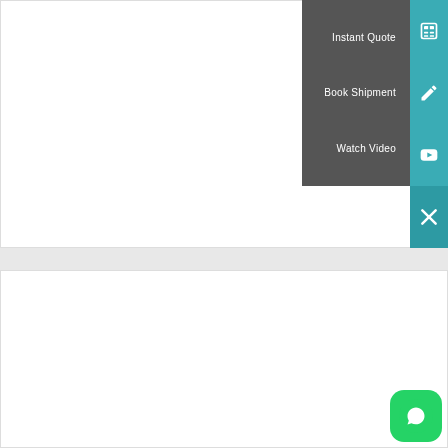[Figure (screenshot): Website UI showing a dark dropdown menu with three options: Instant Quote (calculator icon), Book Shipment (pencil icon), Watch Video (YouTube icon), with a teal sidebar containing a close (X) button]
[Figure (infographic): Blog post thumbnail showing two map pin icons with city photos (Dubai and Shanghai skylines), a blue date badge showing '11 May', and text 'CHINA EXPO TO UAE' with 'SHIPPING FROM CHINA TO UAE' at the bottom. Arabic text visible.]